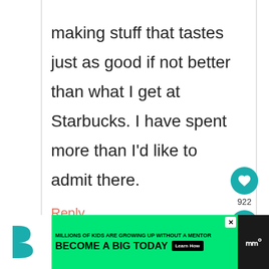making stuff that tastes just as good if not better than what I get at Starbucks. I have spent more than I'd like to admit there.
Reply
[Figure (infographic): Heart/like button (teal circle with heart icon) and share button (teal circle with share icon), with like count 922]
[Figure (infographic): Advertisement banner: Big Brothers Big Sisters logo. Green background with text 'MILLIONS OF KIDS ARE GROWING UP WITHOUT A MENTOR. BECOME A BIG TODAY' with Learn How button. Right side shows app icon.]